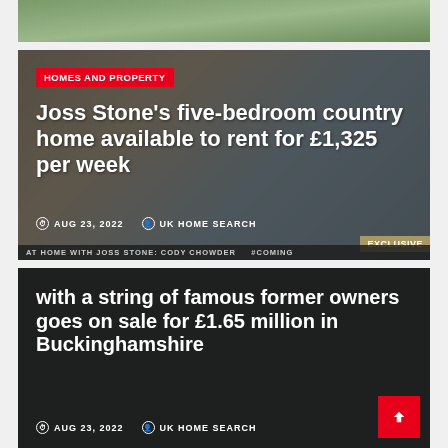[Figure (photo): Top partial image strip showing green outdoor/garden scene]
[Figure (photo): Article card with background image of Joss Stone at home, overlaid with text]
HOMES AND PROPERTY
Joss Stone's five-bedroom country home available to rent for £1,325 per week
AUG 23, 2022  UK HOME SEARCH
EXCLUSIVE
AT HOME WITH JOSS STONE: CODY CHOWDER
with a string of famous former owners goes on sale for £1.65 million in Buckinghamshire
AUG 23, 2022  UK HOME SEARCH